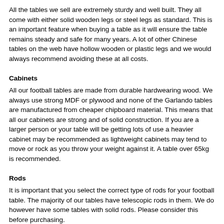All the tables we sell are extremely sturdy and well built. They all come with either solid wooden legs or steel legs as standard. This is an important feature when buying a table as it will ensure the table remains steady and safe for many years. A lot of other Chinese tables on the web have hollow wooden or plastic legs and we would always recommend avoiding these at all costs.
Cabinets
All our football tables are made from durable hardwearing wood. We always use strong MDF or plywood and none of the Garlando tables are manufactured from cheaper chipboard material. This means that all our cabinets are strong and of solid construction. If you are a larger person or your table will be getting lots of use a heavier cabinet may be recommended as lightweight cabinets may tend to move or rock as you throw your weight against it. A table over 65kg is recommended.
Rods
It is important that you select the correct type of rods for your football table. The majority of our tables have telescopic rods in them. We do however have some tables with solid rods. Please consider this before purchasing.
Telescopic Rods
They do not go through the side of the cabinet and are making